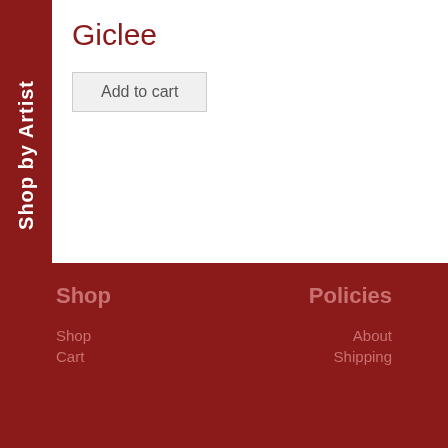Shop by Artist
Giclee
Add to cart
Shop | Policies | Shop | About | Cart | Shipping